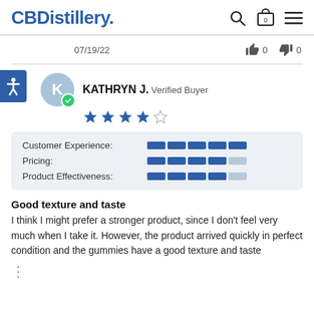CBDistillery. [search] [cart 0] [menu]
07/19/22   👍 0   👎 0
KATHRYN J. Verified Buyer — 4 out of 5 stars
Customer Experience: 5/5
Pricing: 4/5
Product Effectiveness: 4/5
Good texture and taste
I think I might prefer a stronger product, since I don't feel very much when I take it. However, the product arrived quickly in perfect condition and the gummies have a good texture and taste